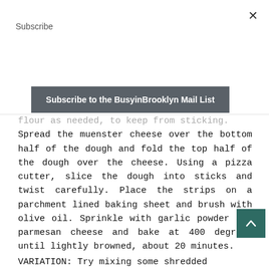Subscribe
Subscribe to the BusyinBrooklyn Mail List
flour as needed, to keep from sticking. Spread the muenster cheese over the bottom half of the dough and fold the top half of the dough over the cheese. Using a pizza cutter, slice the dough into sticks and twist carefully. Place the strips on a parchment lined baking sheet and brush with olive oil. Sprinkle with garlic powder and parmesan cheese and bake at 400 degrees until lightly browned, about 20 minutes.
VARIATION: Try mixing some shredded